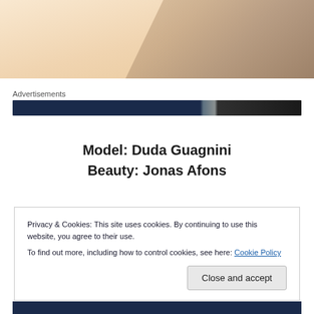[Figure (photo): Partial photograph showing legs, warm beige and sandy tones, fading into white at left]
Advertisements
Model: Duda Guagnini
Beauty: Jonas Afons
Privacy & Cookies: This site uses cookies. By continuing to use this website, you agree to their use.
To find out more, including how to control cookies, see here: Cookie Policy